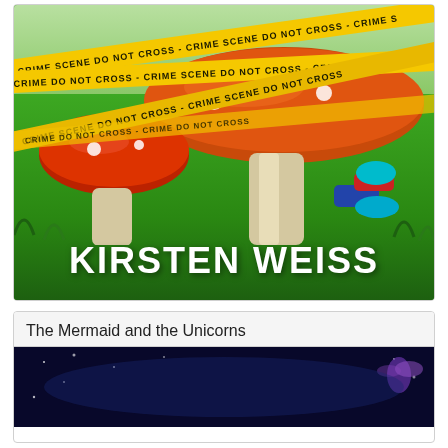[Figure (illustration): Book cover illustration showing large red mushrooms with white spots on green grass, yellow crime scene tape wrapped around them, a body with blue shoes visible behind the mushrooms, green rolling hills in background. Author name 'KIRSTEN WEISS' in large white block letters at bottom.]
The Mermaid and the Unicorns
[Figure (illustration): Book cover with dark blue/purple background showing mystical underwater or night sky scene. Author name 'L.T. GETTY' in large white serif letters. A fairy or winged creature visible on the right side.]